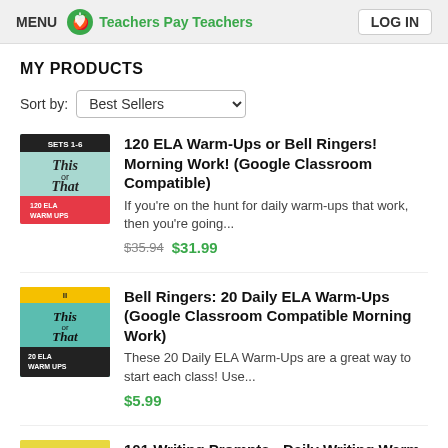MENU  Teachers Pay Teachers  LOG IN
MY PRODUCTS
Sort by: Best Sellers
[Figure (illustration): Product thumbnail for 120 ELA Warm-Ups - This or That sets 1-6]
120 ELA Warm-Ups or Bell Ringers! Morning Work! (Google Classroom Compatible)
If you're on the hunt for daily warm-ups that work, then you're going...
$35.94 $31.99
[Figure (illustration): Product thumbnail for Bell Ringers 20 Daily ELA Warm-Ups - This or That]
Bell Ringers: 20 Daily ELA Warm-Ups (Google Classroom Compatible Morning Work)
These 20 Daily ELA Warm-Ups are a great way to start each class! Use...
$5.99
[Figure (illustration): Product thumbnail for 101 Writing Prompts - This or That]
101 Writing Prompts - Daily Writing Warm-Up - Bell Ringer Journal